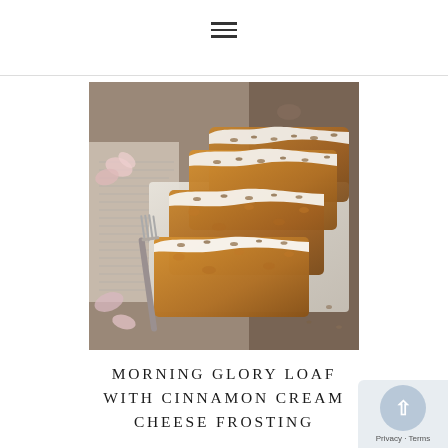[Figure (other): Hamburger/navigation menu icon with three horizontal lines]
[Figure (photo): Close-up food photo of morning glory loaf slices with white cinnamon cream cheese frosting and nuts on a marble cutting board with a vintage fork, newspaper, and scattered flower petals]
MORNING GLORY LOAF WITH CINNAMON CREAM CHEESE FROSTING
[Figure (other): Privacy and Terms badge with circular scroll-to-top button]